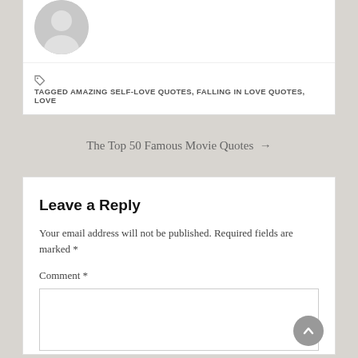[Figure (illustration): Partial view of a gray circular avatar/silhouette image at the top of the page]
TAGGED AMAZING SELF-LOVE QUOTES, FALLING IN LOVE QUOTES, LOVE
The Top 50 Famous Movie Quotes →
Leave a Reply
Your email address will not be published. Required fields are marked *
Comment *